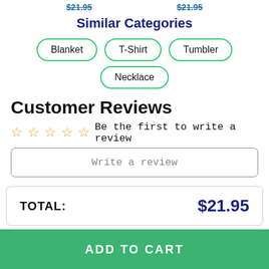$21.95   $21.95
Similar Categories
Blanket
T-Shirt
Tumbler
Necklace
Customer Reviews
☆☆☆☆☆ Be the first to write a review
Write a review
TOTAL: $21.95
ADD TO CART